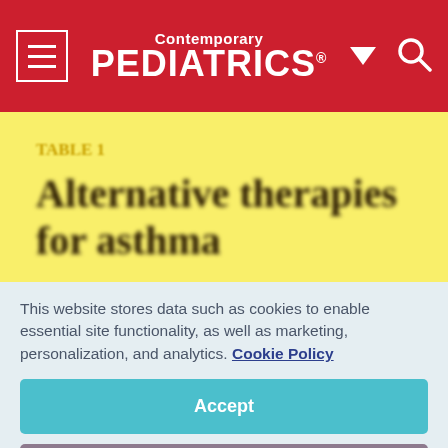Contemporary PEDIATRICS
[Figure (other): Blurred yellow-background image showing TABLE 1 label and title text 'Alternative therapies for asthma']
This website stores data such as cookies to enable essential site functionality, as well as marketing, personalization, and analytics. Cookie Policy
Accept
Deny